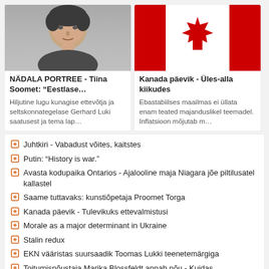[Figure (photo): Portrait photo of a woman (Tiina Soomet), grayscale/muted tones]
[Figure (photo): Canadian flag image - red and white with maple leaf]
NÄDALA PORTREE - Tiina Soomet: “Eestlase…
Hiljutine lugu kunagise ettevõtja ja seltskonnategelase Gerhard Luki saatusest ja tema lap…
Kanada päevik - Üles-alla kiikudes
Ebastabiilses maailmas ei üllata enam teated majanduslikel teemadel. Inflatsioon mõjutab m…
Juhtkiri - Vabadust võites, kaitstes
Putin: “History is war.”
Avasta kodupaika Ontarios - Ajalooline maja Niagara jõe piltilusatel kallastel
Saame tuttavaks: kunstiõpetaja Proomet Torga
Kanada päevik - Tulevikuks ettevalmistusi
Morale as a major determinant in Ukraine
Stalin redux
EKN vääristas suursaadik Toomas Lukki teenetemärgiga
Toitumisnõustaja Marika Blossfeldt annab nõu - Kuidas